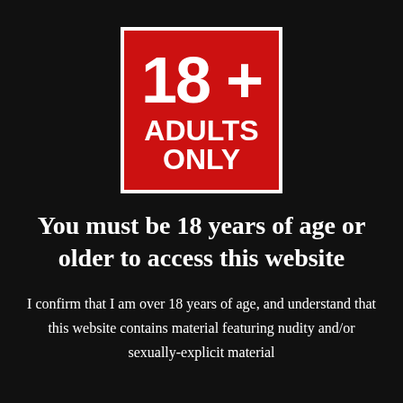[Figure (logo): Red square badge with white border containing '18+' in large bold white text and 'ADULTS ONLY' below in bold white capital letters]
You must be 18 years of age or older to access this website
I confirm that I am over 18 years of age, and understand that this website contains material featuring nudity and/or sexually-explicit material